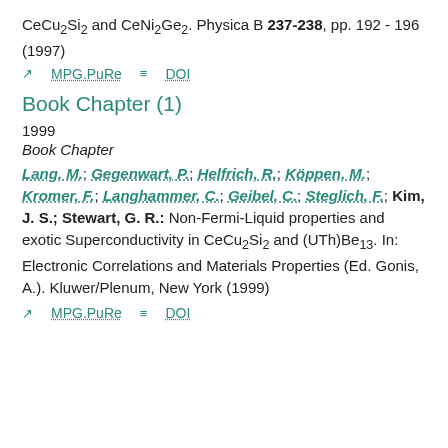CeCu₂Si₂ and CeNi₂Ge₂. Physica B 237-238, pp. 192 - 196 (1997)
⊘ MPG.PuRe   ≡ DOI
Book Chapter (1)
1999
Book Chapter
Lang, M.; Gegenwart, P.; Helfrich, R.; Köppen, M.; Kromer, F.; Langhammer, C.; Geibel, C.; Steglich, F.; Kim, J. S.; Stewart, G. R.: Non-Fermi-Liquid properties and exotic Superconductivity in CeCu₂Si₂ and (UTh)Be₁₃. In: Electronic Correlations and Materials Properties (Ed. Gonis, A.). Kluwer/Plenum, New York (1999)
⊘ MPG.PuRe   ≡ DOI